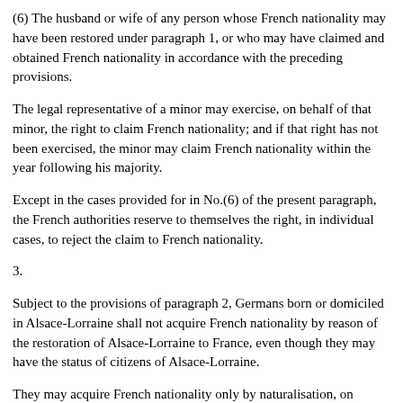(6) The husband or wife of any person whose French nationality may have been restored under paragraph 1, or who may have claimed and obtained French nationality in accordance with the preceding provisions.
The legal representative of a minor may exercise, on behalf of that minor, the right to claim French nationality; and if that right has not been exercised, the minor may claim French nationality within the year following his majority.
Except in the cases provided for in No.(6) of the present paragraph, the French authorities reserve to themselves the right, in individual cases, to reject the claim to French nationality.
3.
Subject to the provisions of paragraph 2, Germans born or domiciled in Alsace-Lorraine shall not acquire French nationality by reason of the restoration of Alsace-Lorraine to France, even though they may have the status of citizens of Alsace-Lorraine.
They may acquire French nationality only by naturalisation, on condition of having been domiciled in Alsace-Lorraine from a date